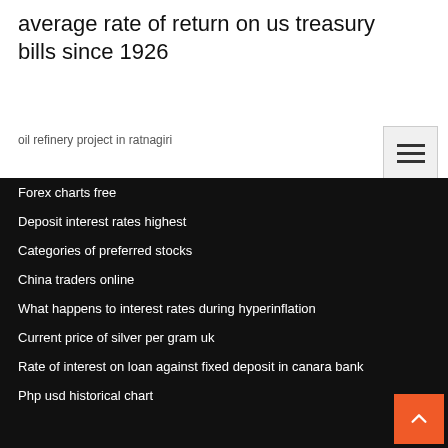average rate of return on us treasury bills since 1926
oil refinery project in ratnagiri
Forex charts free
Deposit interest rates highest
Categories of preferred stocks
China traders online
What happens to interest rates during hyperinflation
Current price of silver per gram uk
Rate of interest on loan against fixed deposit in canara bank
Php usd historical chart